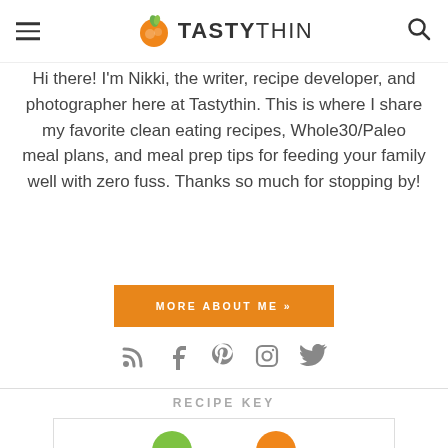TASTYTHIN (logo with hamburger menu and search icon)
Hi there! I'm Nikki, the writer, recipe developer, and photographer here at Tastythin. This is where I share my favorite clean eating recipes, Whole30/Paleo meal plans, and meal prep tips for feeding your family well with zero fuss. Thanks so much for stopping by!
MORE ABOUT ME »
[Figure (infographic): Social media icons: RSS feed, Facebook, Pinterest, Instagram, Twitter]
RECIPE KEY